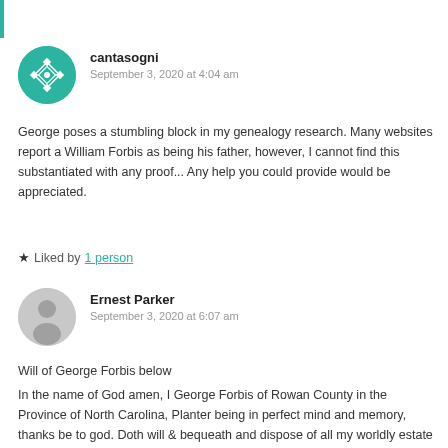cantasogni
September 3, 2020 at 4:04 am
George poses a stumbling block in my genealogy research. Many websites report a William Forbis as being his father, however, I cannot find this substantiated with any proof... Any help you could provide would be appreciated.
Liked by 1 person
Ernest Parker
September 3, 2020 at 6:07 am
Will of George Forbis below
In the name of God amen, I George Forbis of Rowan County in the Province of North Carolina, Planter being in perfect mind and memory, thanks be to god. Doth will & bequeath and dispose of all my worldly estate as followeth; I give & bequeath unto my well beloved wife Olif Forbis all my household goods, all her wearing apparel, &